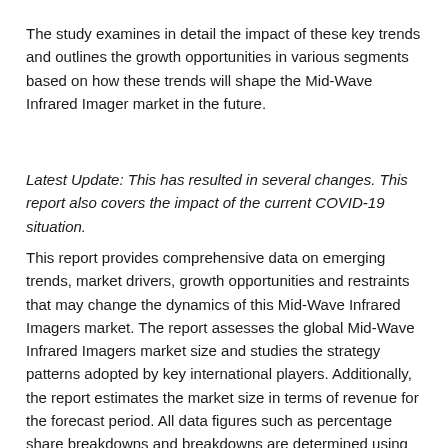The study examines in detail the impact of these key trends and outlines the growth opportunities in various segments based on how these trends will shape the Mid-Wave Infrared Imager market in the future.
Latest Update: This has resulted in several changes. This report also covers the impact of the current COVID-19 situation.
This report provides comprehensive data on emerging trends, market drivers, growth opportunities and restraints that may change the dynamics of this Mid-Wave Infrared Imagers market. The report assesses the global Mid-Wave Infrared Imagers market size and studies the strategy patterns adopted by key international players. Additionally, the report estimates the market size in terms of revenue for the forecast period. All data figures such as percentage share breakdowns and breakdowns are determined using secondary sources and verified using primary sources.